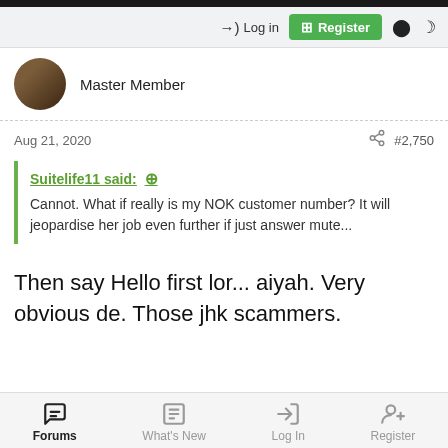Log in | Register
Master Member
Aug 21, 2020  #2,750
Suitelife11 said: Cannot. What if really is my NOK customer number? It will jeopardise her job even further if just answer mute...
Then say Hello first lor... aiyah. Very obvious de. Those jhk scammers.
Forums | What's New | Log In | Register